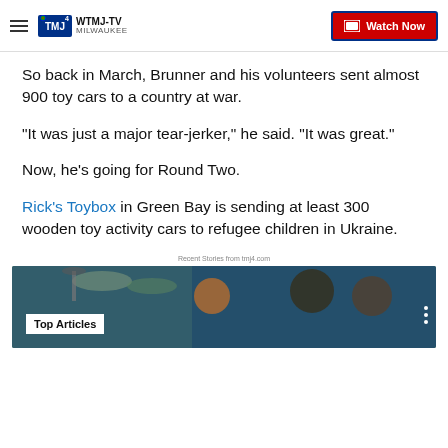WTMJ-TV MILWAUKEE | Watch Now
So back in March, Brunner and his volunteers sent almost 900 toy cars to a country at war.
"It was just a major tear-jerker," he said. "It was great."
Now, he’s going for Round Two.
Rick’s Toybox in Green Bay is sending at least 300 wooden toy activity cars to refugee children in Ukraine.
Recent Stories from tmj4.com
[Figure (photo): Basketball players on an outdoor court with overlay text 'Top Articles']